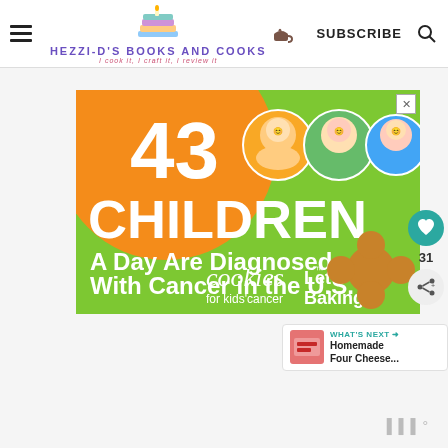HEZZI-D'S BOOKS AND COOKS | I Cook it, I Craft it, I Review it | SUBSCRIBE
[Figure (infographic): Advertisement for cookies for kids' cancer: green and orange background with '43 CHILDREN A Day Are Diagnosed With Cancer in the U.S.' and cookies brand logo with 'Let's Get Baking' text. Three circular photos of children at top right.]
31
WHAT'S NEXT → Homemade Four Cheese...